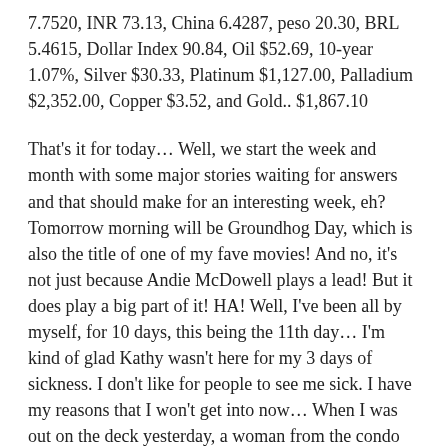7.7520, INR 73.13, China 6.4287, peso 20.30, BRL 5.4615, Dollar Index 90.84, Oil $52.69, 10-year 1.07%, Silver $30.33, Platinum $1,127.00, Palladium $2,352.00, Copper $3.52, and Gold.. $1,867.10
That's it for today… Well, we start the week and month with some major stories waiting for answers and that should make for an interesting week, eh?  Tomorrow morning will be Groundhog Day, which is also the title of one of my fave movies! And no, it's not just because Andie McDowell plays a lead! But it does play a big part of it! HA! Well, I've been all by myself, for 10 days, this being the 11th day… I'm kind of glad Kathy wasn't here for my 3 days of sickness. I don't like for people to see me sick. I have my reasons that I won't get into now… When I was out on the deck yesterday, a woman from the condo came out and we talked like we normally do. Her name is Annette, and she asked me where my cooler of beer was? I then explained why it wasn't there, and then told her, to not feel bad about asking! Another beautiful moon rise last night… in the words of Moon Man Mike Shannon, It's a beautiful full moon here tonight, I hope it's a full moon wherever you are" The Marshall Tucker Band takes us to the finish line today with their song: Searchin' For A Rainbow… "and if the wind ever shows me where to go, you'd be waiting at the end and I